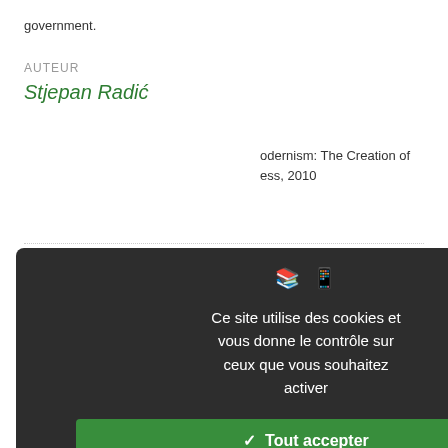government.
AUTEUR
Stjepan Radić
odernism: The Creation of ess, 2010
ion.org/6540
The Speech in the Italian Parliament
[Figure (screenshot): Cookie consent modal overlay with dark background showing French cookie consent message and three buttons: Tout accepter (green), Tout refuser (red), Personnaliser (white), plus Politique de confidentialité link]